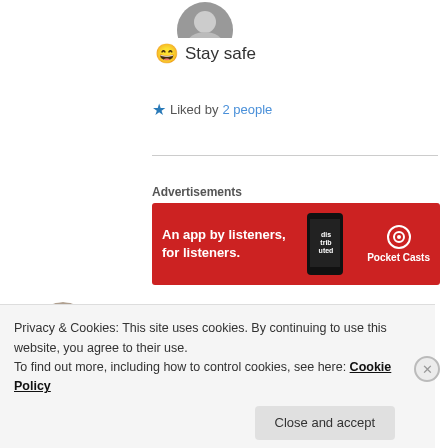[Figure (photo): Partial circular avatar/profile image at top]
😄 Stay safe
★ Liked by 2 people
[Figure (other): Advertisements - Pocket Casts: An app by listeners, for listeners. Red banner ad.]
[Figure (photo): Circular author profile photo of a young man]
DIXITMRITYUNJAY
August 8, 2020 at 4:50 pm
Privacy & Cookies: This site uses cookies. By continuing to use this website, you agree to their use.
To find out more, including how to control cookies, see here: Cookie Policy